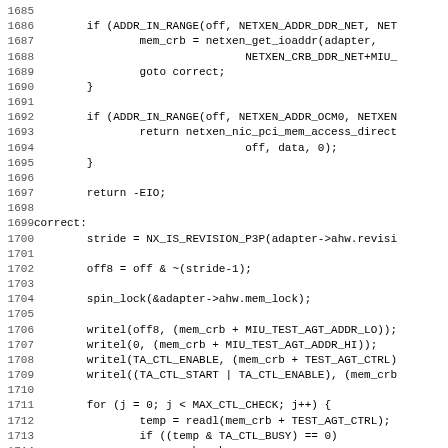[Figure (other): Source code listing (C language), lines 1685-1717, showing network driver memory access logic including ADDR_IN_RANGE checks, goto correct label, stride/off8 calculation, spin_lock, writel calls, and for loop with readl/TA_CTL_BUSY check.]